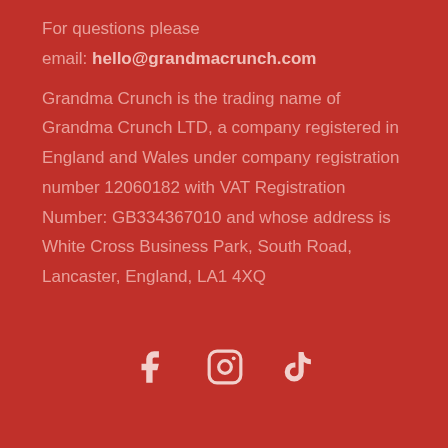For questions please email: hello@grandmacrunch.com
Grandma Crunch is the trading name of Grandma Crunch LTD, a company registered in England and Wales under company registration number 12060182 with VAT Registration Number: GB334367010 and whose address is White Cross Business Park, South Road, Lancaster, England, LA1 4XQ
[Figure (illustration): Social media icons: Facebook, Instagram, TikTok]